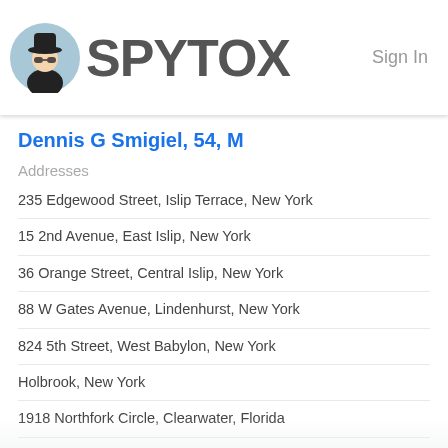SPYTOX  Sign In
Dennis G Smigiel, 54, M
Addresses
235 Edgewood Street, Islip Terrace, New York
15 2nd Avenue, East Islip, New York
36 Orange Street, Central Islip, New York
88 W Gates Avenue, Lindenhurst, New York
824 5th Street, West Babylon, New York
Holbrook, New York
1918 Northfork Circle, Clearwater, Florida
Jacksonville, Florida
Phone
631-277-0305
727-535-0201
631-234-6211